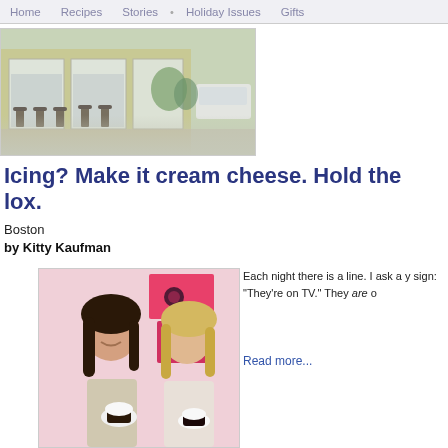Home  Recipes  Stories  • Holiday Issues  Gifts
[Figure (photo): Exterior photo of a bakery or cafe with large glass windows, outdoor seating with stools and chairs, green facade, parked white vehicle visible on street]
Icing? Make it cream cheese. Hold the lox.
Boston
by Kitty Kaufman
[Figure (photo): Two smiling women holding cupcakes in a bakery with pink boxes and decorative packaging in the background]
Each night there is a line. I ask a y sign: "They're on TV." They are o
Read more...